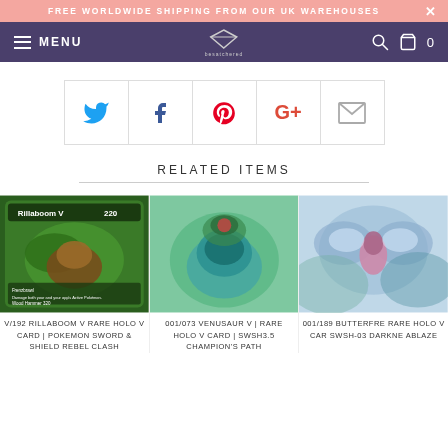FREE WORLDWIDE SHIPPING FROM OUR UK WAREHOUSES
[Figure (screenshot): Navigation bar with menu, diamond logo, search and cart icons on purple background]
[Figure (infographic): Social media share buttons row: Twitter, Facebook, Pinterest, Google+, Email]
RELATED ITEMS
[Figure (photo): Product image: Rillaboom V Pokemon card (green/grass type)]
V/192 RILLABOOM V RARE HOLO V CARD | POKEMON SWORD & SHIELD REBEL CLASH
[Figure (photo): Product image: 001/073 Venusaur V blurred card image]
001/073 VENUSAUR V | RARE HOLO V CARD | SWSH3.5 CHAMPION'S PATH
[Figure (photo): Product image: 001/189 Butterfree V blurred card image]
001/189 BUTTERFREE RARE HOLO V CARD | SWSH-03 DARKNESS ABLAZE